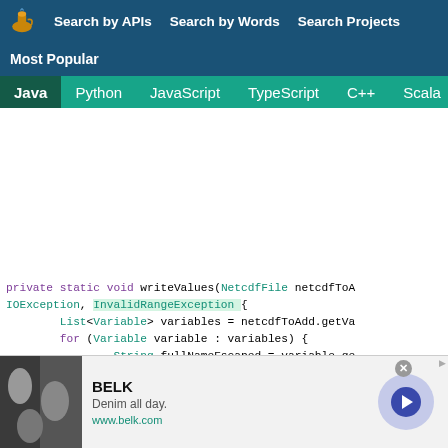Search by APIs  Search by Words  Search Projects
Most Popular
Java  Python  JavaScript  TypeScript  C++  Scala
[Figure (screenshot): Code viewer area — blank white space (advertisement area above code)]
private static void writeValues(NetcdfFile netcdfToA IOException, InvalidRangeException {
        List<Variable> variables = netcdfToAdd.getVa
        for (Variable variable : variables) {
                String fullNameEscaped = variable.ge
                Variable netcdfFileVariable = netcdf
[Figure (photo): BELK advertisement banner showing denim clothing with text: BELK, Denim all day., www.belk.com and a navigation arrow button]